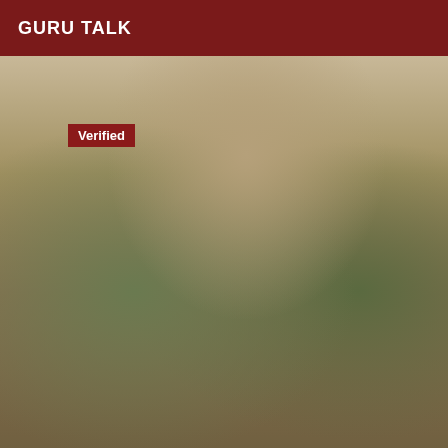GURU TALK
Verified
[Figure (photo): A woman in an olive green bikini with straps, wearing a choker necklace, posed in front of tropical foliage. The image is cropped from shoulders to upper thighs.]